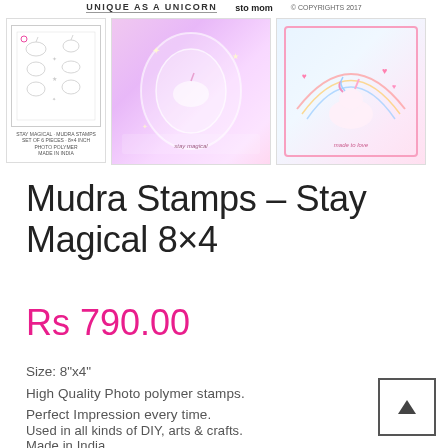[Figure (photo): Three product images: a stamp sheet with unicorn designs, a glowing pink/purple card with unicorn, and a colorful unicorn card]
Mudra Stamps – Stay Magical 8×4
Rs 790.00
Size: 8"x4"
High Quality Photo polymer stamps.
Perfect Impression every time.
Used in all kinds of DIY, arts & crafts.
Made in India.